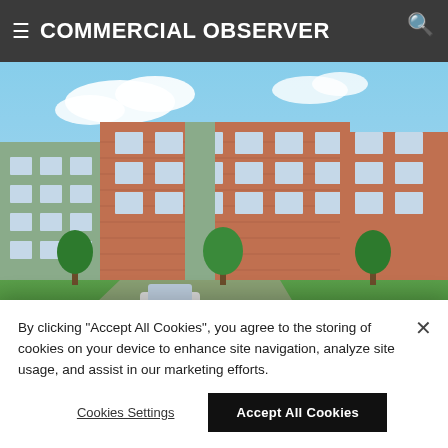COMMERCIAL OBSERVER
[Figure (photo): Architectural rendering of a multi-story residential apartment complex with brick and light green facade elements, green lawn in foreground, cars in parking area, trees surrounding the building under a blue sky.]
FINANCE · CONSTRUCTION | MASSACHUSETTS
Cambridge Savings Bank Lends $85M on
By clicking "Accept All Cookies", you agree to the storing of cookies on your device to enhance site navigation, analyze site usage, and assist in our marketing efforts.